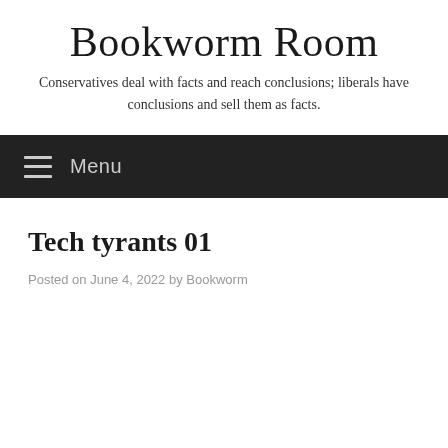Bookworm Room
Conservatives deal with facts and reach conclusions; liberals have conclusions and sell them as facts.
☰ Menu
Tech tyrants 01
Posted on June 4, 2022 by Bookworm